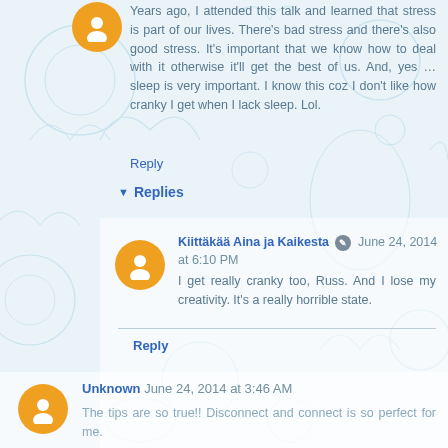Years ago, I attended this talk and learned that stress is part of our lives. There's bad stress and there's also good stress. It's important that we know how to deal with it otherwise it'll get the best of us. And, yes ... sleep is very important. I know this coz I don't like how cranky I get when I lack sleep. Lol.
Reply
Replies
Kiittäkää Aina ja Kaikesta  June 24, 2014 at 6:10 PM
I get really cranky too, Russ. And I lose my creativity. It's a really horrible state.
Reply
Unknown  June 24, 2014 at 3:46 AM
The tips are so true!! Disconnect and connect is so perfect for me.